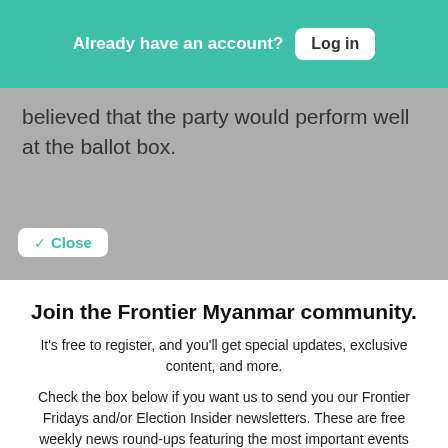Already have an account? Log in
believed that the party would perform well at the ballot box.
Close
Join the Frontier Myanmar community.
It's free to register, and you'll get special updates, exclusive content, and more.
Check the box below if you want us to send you our Frontier Fridays and/or Election Insider newsletters. These are free weekly news round-ups featuring the most important events shaping Myanmar. The Daily Briefing and Media Monitor are only available to paying members.